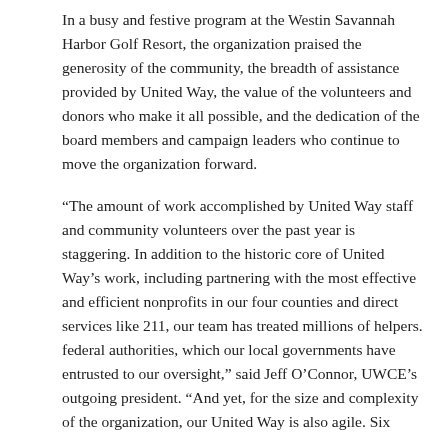In a busy and festive program at the Westin Savannah Harbor Golf Resort, the organization praised the generosity of the community, the breadth of assistance provided by United Way, the value of the volunteers and donors who make it all possible, and the dedication of the board members and campaign leaders who continue to move the organization forward.
“The amount of work accomplished by United Way staff and community volunteers over the past year is staggering. In addition to the historic core of United Way’s work, including partnering with the most effective and efficient nonprofits in our four counties and direct services like 211, our team has treated millions of helpers. federal authorities, which our local governments have entrusted to our oversight,” said Jeff O’Connor, UWCE’s outgoing president. “And yet, for the size and complexity of the organization, our United Way is also agile. Six weeks ago, a deadly tornado hit Bryan County, and we were able to immediately mobilize resources to financially support our friends and neighbors.